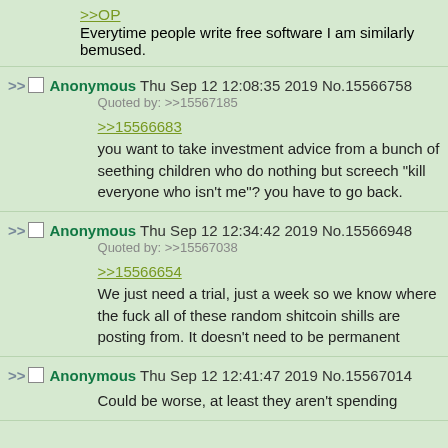>>OP
Everytime people write free software I am similarly bemused.
Anonymous Thu Sep 12 12:08:35 2019 No.15566758
Quoted by: >>15567185
>>15566683
you want to take investment advice from a bunch of seething children who do nothing but screech "kill everyone who isn't me"? you have to go back.
Anonymous Thu Sep 12 12:34:42 2019 No.15566948
Quoted by: >>15567038
>>15566654
We just need a trial, just a week so we know where the fuck all of these random shitcoin shills are posting from. It doesn't need to be permanent
Anonymous Thu Sep 12 12:41:47 2019 No.15567014
Could be worse, at least they aren't spending